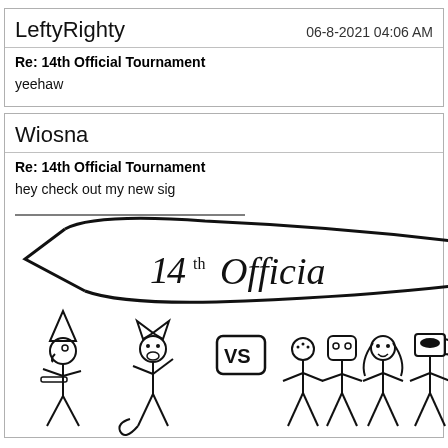LeftyRighty
06-8-2021 04:06 AM
Re: 14th Official Tournament
yeehaw
Wiosna
Re: 14th Official Tournament
hey check out my new sig
[Figure (illustration): Hand-drawn illustration showing '14th Officia' text in a banner shape at the top, and below it a row of stick figures and cartoon animal characters including what appears to be a bird/wizard, a fox, a 'VS' sign, a person, a robot/figure, a dog, a cup/mug character, and a bear/panda.]